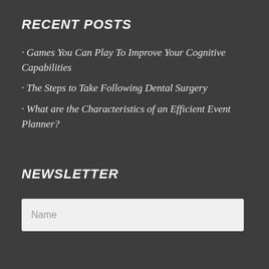RECENT POSTS
Games You Can Play To Improve Your Cognitive Capabilities
The Steps to Take Following Dental Surgery
What are the Characteristics of an Efficient Event Planner?
NEWSLETTER
Name